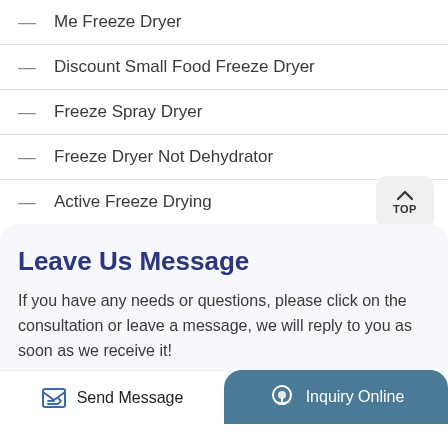Me Freeze Dryer
Discount Small Food Freeze Dryer
Freeze Spray Dryer
Freeze Dryer Not Dehydrator
Active Freeze Drying
Leave Us Message
If you have any needs or questions, please click on the consultation or leave a message, we will reply to you as soon as we receive it!
Send Message
Inquiry Online